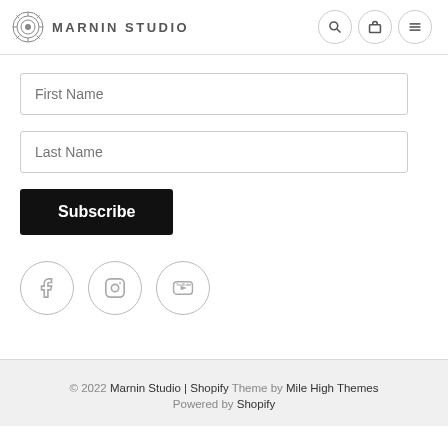MARNIN STUDIO
First Name
Last Name
Subscribe
[Figure (other): Social media icons: Facebook, Instagram, YouTube in circular outlines]
© 2022 Marnin Studio | Shopify Theme by Mile High Themes Powered by Shopify